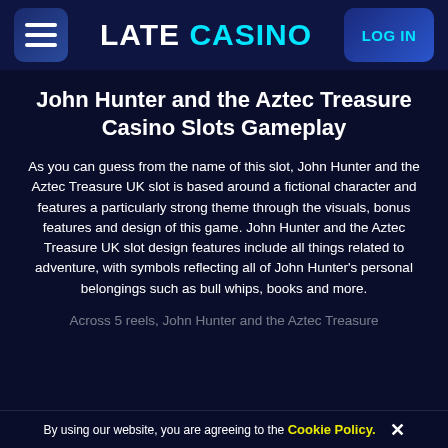LATE CASINO | LOG IN
John Hunter and the Aztec Treasure Casino Slots Gameplay
As you can guess from the name of this slot, John Hunter and the Aztec Treasure UK slot is based around a fictional character and features a particularly strong theme through the visuals, bonus features and design of this game. John Hunter and the Aztec Treasure UK slot design features include all things related to adventure, with symbols reflecting all of John Hunter's personal belongings such as bull whips, books and more.
Across 5 reels, John Hunter and the Aztec Treasure
By using our website, you are agreeing to the Cookie Policy.